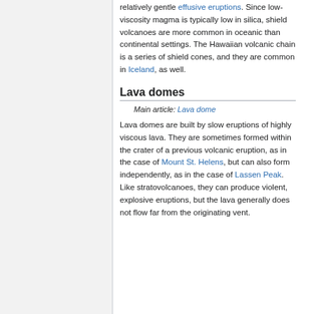relatively gentle effusive eruptions. Since low-viscosity magma is typically low in silica, shield volcanoes are more common in oceanic than continental settings. The Hawaiian volcanic chain is a series of shield cones, and they are common in Iceland, as well.
Lava domes
Main article: Lava dome
Lava domes are built by slow eruptions of highly viscous lava. They are sometimes formed within the crater of a previous volcanic eruption, as in the case of Mount St. Helens, but can also form independently, as in the case of Lassen Peak. Like stratovolcanoes, they can produce violent, explosive eruptions, but the lava generally does not flow far from the originating vent.